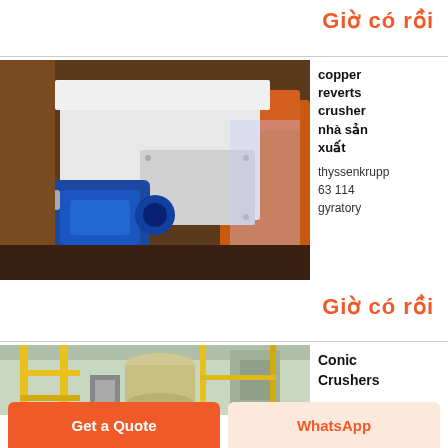Giờ có rồi
[Figure (photo): Industrial copper reverts crusher machine with blue electric motor, white body, in a factory setting]
copper reverts crusher nhà sản xuất thyssenkrupp 63 114 gyratory
Giờ có rồi
[Figure (photo): Industrial facility interior showing yellow scaffolding, machinery, and industrial equipment]
Conic Crushers
Get a Quote
WhatsApp